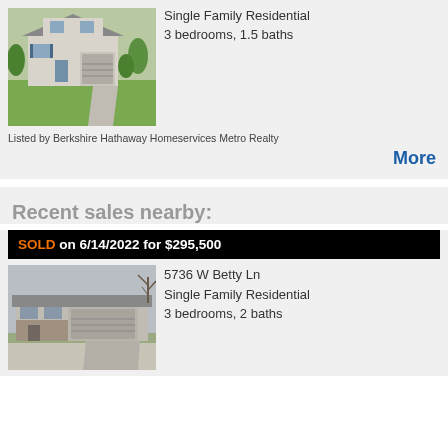[Figure (photo): Exterior photo of a two-story single family residential home with garage and green lawn]
Single Family Residential
3 bedrooms, 1.5 baths
Listed by Berkshire Hathaway Homeservices Metro Realty
More
Recent sales nearby:
SOLD on 6/14/2022 for $295,500
5736 W Betty Ln
Single Family Residential
3 bedrooms, 2 baths
[Figure (photo): Exterior photo of a ranch-style single family residential home with garage]